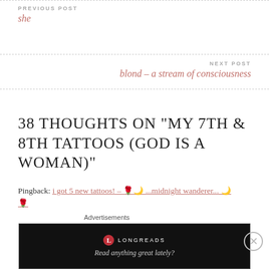PREVIOUS POST
she
NEXT POST
blond – a stream of consciousness
38 THOUGHTS ON “MY 7TH & 8TH TATTOOS (GOD IS A WOMAN)”
Pingback: i got 5 new tattoos! – 🌹🌙 …midnight wanderer… 🌙🌹
Pingback: i got 5 new tattoos! – 🌹🌙 …midnight wanderer… 🌙🌹
Advertisements
[Figure (screenshot): Longreads advertisement banner with logo and tagline 'Read anything great lately?']